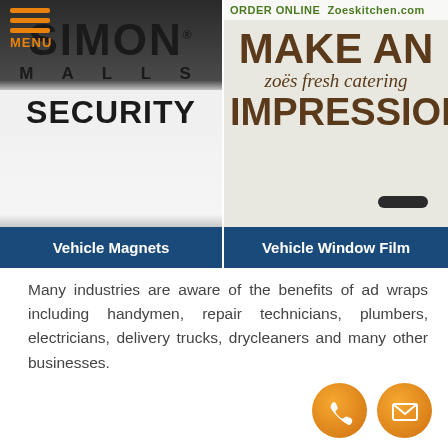MENU
[Figure (photo): Simon Malls Security vehicle magnet sign with white background showing SIMON MALLS SECURITY text in black]
Vehicle Magnets
[Figure (photo): Zoes Kitchen van with window film showing ORDER ONLINE Zoeskitchen.com at top and MAKE AN zoes fresh catering IMPRESSION text]
Vehicle Window Film
Many industries are aware of the benefits of ad wraps including handymen, repair technicians, plumbers, electricians, delivery trucks, drycleaners and many other businesses.